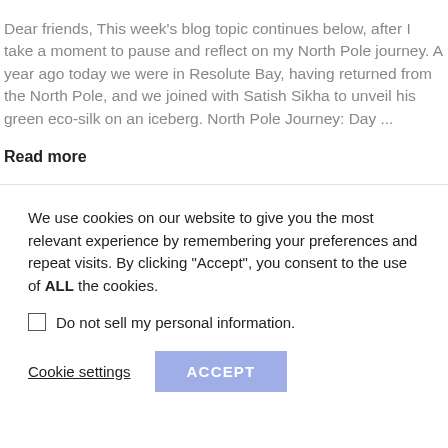Dear friends, This week's blog topic continues below, after I take a moment to pause and reflect on my North Pole journey. A year ago today we were in Resolute Bay, having returned from the North Pole, and we joined with Satish Sikha to unveil his green eco-silk on an iceberg. North Pole Journey: Day ...
Read more
We use cookies on our website to give you the most relevant experience by remembering your preferences and repeat visits. By clicking "Accept", you consent to the use of ALL the cookies.
Do not sell my personal information.
Cookie settings
ACCEPT